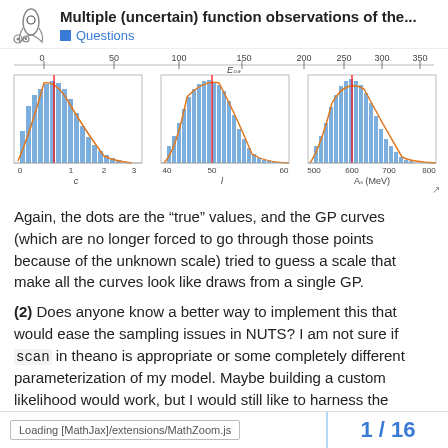Multiple (uncertain) function observations of the... Questions
[Figure (continuous-plot): Three histogram plots with orange curve overlays and red vertical lines. Top axis shows E_bb values from 0 to 350. Bottom row shows three subplots: left plot x-axis 'c' from 0-3, middle plot x-axis 'l' from 40-50, right plot x-axis 'As (MeV)' from 500-800.]
Again, the dots are the “true” values, and the GP curves (which are no longer forced to go through those points because of the unknown scale) tried to guess a scale that make all the curves look like draws from a single GP.
(2) Does anyone know a better way to implement this that would ease the sampling issues in NUTS? I am not sure if scan in theano is appropriate or some completely different parameterization of my model. Maybe building a custom likelihood would work, but I would still like to harness the power of GPs. Sorry if I did not describe this as well as I could have, I am new to PyMC3.
Loading [MathJax]/extensions/MathZoom.js    1 / 16